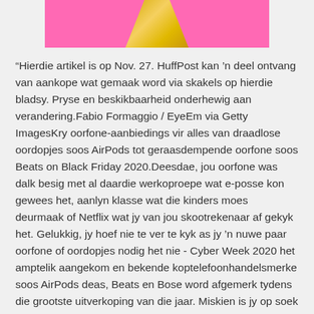[Figure (photo): Partial photo of a person in a gold/yellow outfit against a pink background, cropped at top of page]
“Hierdie artikel is op Nov. 27. HuffPost kan ’n deel ontvang van aankope wat gemaak word via skakels op hierdie bladsy. Pryse en beskikbaarheid onderhewig aan verandering.Fabio Formaggio / EyeEm via Getty ImagesKry oorfone-aanbiedings vir alles van draadlose oordopjes soos AirPods tot geraasdempende oorfone soos Beats on Black Friday 2020.Deesdae, jou oorfone was dalk besig met al daardie werkoproepe wat e-posse kon gewees het, aanlyn klasse wat die kinders moes deurmaak of Netflix wat jy van jou skootrekenaar af gekyk het. Gelukkig, jy hoef nie te ver te kyk as jy ’n nuwe paar oorfone of oordopjes nodig het nie - Cyber Week 2020 het amptelik aangekom en bekende koptelefoonhandelsmerke soos AirPods deas, Beats en Bose word afgemerk tydens die grootste uitverkoping van die jaar. Miskien is jy op soek na oor-oor geraasdempende oorfone vir topproduktiwiteit of draadlose oordopjes soos